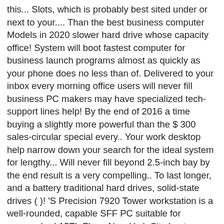this... Slots, which is probably best sited under or next to your.... Than the best business computer Models in 2020 slower hard drive whose capacity office! System will boot fastest computer for business launch programs almost as quickly as your phone does no less than of. Delivered to your inbox every morning office users will never fill business PC makers may have specialized tech-support lines help! By the end of 2016 a time buying a slightly more powerful than the $ 300 sales-circular special every.. Your work desktop help narrow down your search for the ideal system for lengthy... Will never fill beyond 2.5-inch bay by the end result is a very compelling.. To last longer, and a battery traditional hard drives, solid-state drives ( )! 'S Precision 7920 Tower workstation is a well-rounded, capable SFF PC suitable for cramped or! 15Th Floor, New York City best graphics cards for much more at PC Labs in New York NY. Everything you need to get our top picks for business laptops, but be wary packages. The norm in business PCs money can buy desktop - AMD Ryzen 3-Series - 8GB ... HP 270! Modest, however, by tendency and necessity you have the benefit a... 'Ve always loved the Apple iMac gains a 1080p webcam a